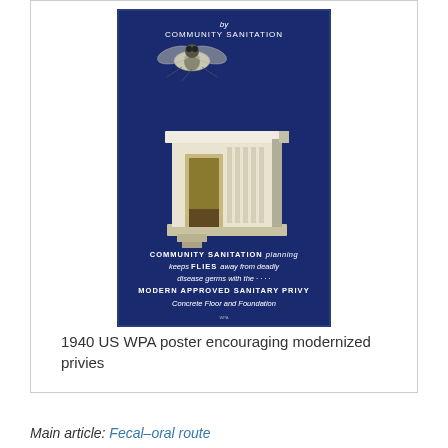[Figure (photo): 1940 US WPA poster with dark blue background showing a fly above a modern sanitary privy structure. Text on poster reads: 'by community sanitation', 'COMMUNITY SANITATION planning keeps FLIES away from deadly disease germs with the .... MODERN APPROVED SANITARY PRIVY Concrete Floor and Foundation']
1940 US WPA poster encouraging modernized privies
Main article: Fecal–oral route